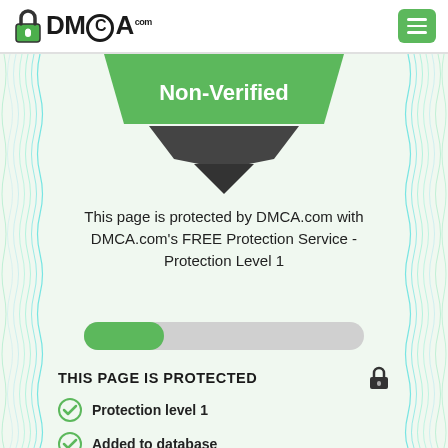[Figure (logo): DMCA.com logo with padlock icon and menu button]
[Figure (illustration): DMCA Non-Verified certificate banner with green chevron and decorative border]
This page is protected by DMCA.com with DMCA.com's FREE Protection Service - Protection Level 1
[Figure (illustration): Toggle slider partially filled green]
THIS PAGE IS PROTECTED
Protection level 1
Added to database
Account verified
Domain ownership verified